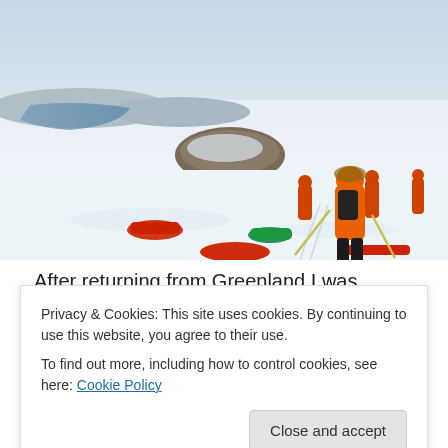[Figure (photo): Expedition team members in orange jackets skiing and pulling sleds on a snow-covered Arctic/Greenland landscape with rocky terrain and water visible in the background.]
After returning from Greenland I was having quite a summer offered mostly pretty crappy weather being cold,
Privacy & Cookies: This site uses cookies. By continuing to use this website, you agree to their use.
To find out more, including how to control cookies, see here: Cookie Policy
Close and accept